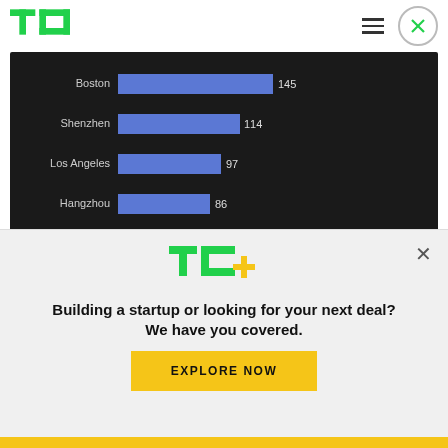TechCrunch logo and navigation
[Figure (bar-chart): Top cities by startup count]
Of the top 10 cities displayed above, only three countries are represented. If it weren't for the rest of Silicon Valley bolstering the Bay Area's numbers
[Figure (logo): TC+ logo advertisement overlay with headline 'Building a startup or looking for your next deal? We have you covered.' and EXPLORE NOW button]